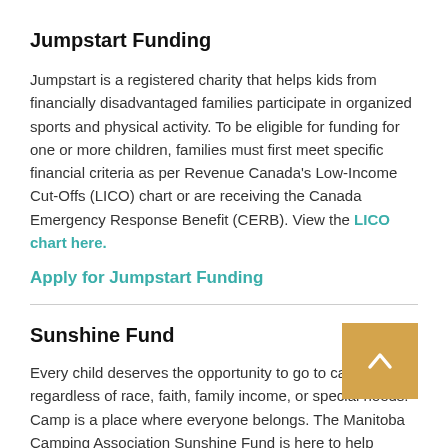Jumpstart Funding
Jumpstart is a registered charity that helps kids from financially disadvantaged families participate in organized sports and physical activity. To be eligible for funding for one or more children, families must first meet specific financial criteria as per Revenue Canada's Low-Income Cut-Offs (LICO) chart or are receiving the Canada Emergency Response Benefit (CERB). View the LICO chart here.
Apply for Jumpstart Funding
Sunshine Fund
Every child deserves the opportunity to go to camp regardless of race, faith, family income, or special needs. Camp is a place where everyone belongs. The Manitoba Camping Association Sunshine Fund is here to help children experience the benefits of camp.